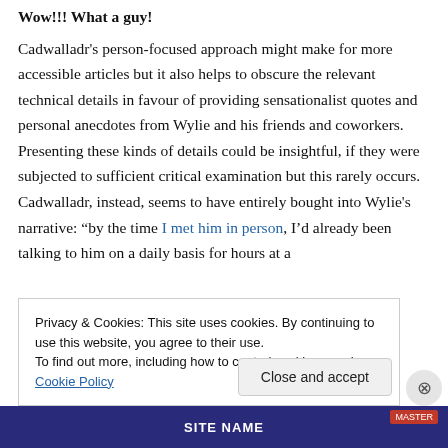Wow!!! What a guy!
Cadwalladr's person-focused approach might make for more accessible articles but it also helps to obscure the relevant technical details in favour of providing sensationalist quotes and personal anecdotes from Wylie and his friends and coworkers. Presenting these kinds of details could be insightful, if they were subjected to sufficient critical examination but this rarely occurs. Cadwalladr, instead, seems to have entirely bought into Wylie's narrative: “by the time I met him in person, I’d already been talking to him on a daily basis for hours at a
Privacy & Cookies: This site uses cookies. By continuing to use this website, you agree to their use.
To find out more, including how to control cookies, see here: Cookie Policy
Close and accept